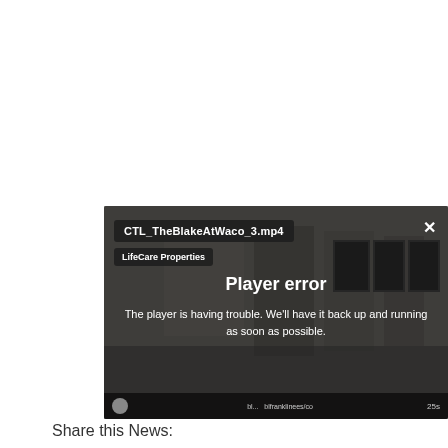[Figure (screenshot): Video player error overlay showing filename 'CTL_TheBlakeAtWaco_3.mp4', source 'LifeCare Properties', with 'Player error' title and error message 'The player is having trouble. We'll have it back up and running as soon as possible.' over a blurred room background. Bottom bar shows playback info and '25s'.]
Share this News: